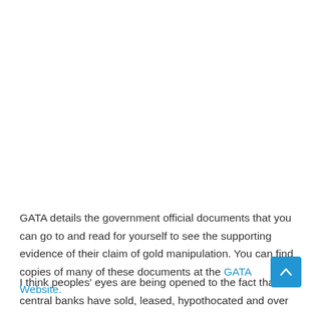GATA details the government official documents that you can go to and read for yourself to see the supporting evidence of their claim of gold manipulation. You can find copies of many of these documents at the GATA Website.
I think peoples' eyes are being opened to the fact that central banks have sold, leased, hypothocated and over committed the gold they claim to have.